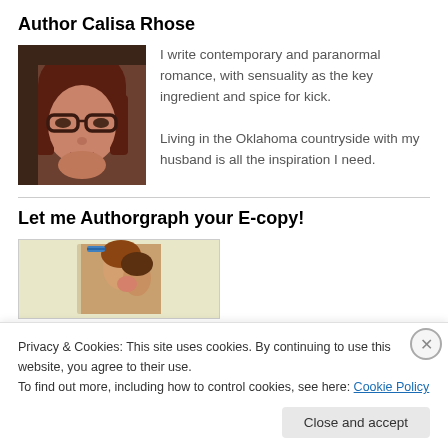Author Calisa Rhose
[Figure (photo): Headshot photo of author Calisa Rhose, a woman with reddish-brown hair and glasses]
I write contemporary and paranormal romance, with sensuality as the key ingredient and spice for kick.
Living in the Oklahoma countryside with my husband is all the inspiration I need.
Let me Authorgraph your E-copy!
[Figure (photo): Book cover image showing a couple kissing with a helicopter in background, on a light yellow-green background]
Privacy & Cookies: This site uses cookies. By continuing to use this website, you agree to their use.
To find out more, including how to control cookies, see here: Cookie Policy